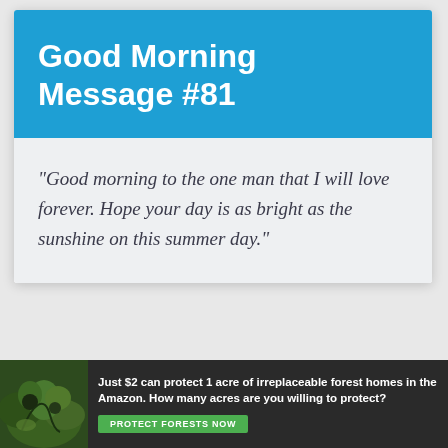Good Morning Message #81
“Good morning to the one man that I will love forever. Hope your day is as bright as the sunshine on this summer day.”
[Figure (infographic): Advertisement banner: forest/Amazon image on left, text 'Just $2 can protect 1 acre of irreplaceable forest homes in the Amazon. How many acres are you willing to protect?' with green 'PROTECT FORESTS NOW' button.]